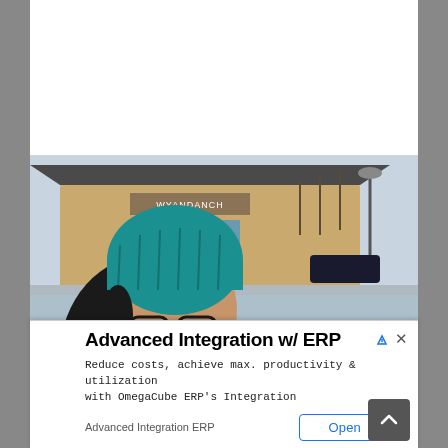[Figure (photo): Outdoor photo of three people (a teenager wearing a teal knit beanie and black glasses smiling, a young girl with dark hair smiling, and an older person with white/blonde hair) in front of what appears to be the Wyandanch train station building. Street lamps and bare trees visible in background.]
Advanced Integration w/ ERP
Reduce costs, achieve max. productivity & utilization with OmegaCube ERP's Integration
Advanced Integration ERP
Open